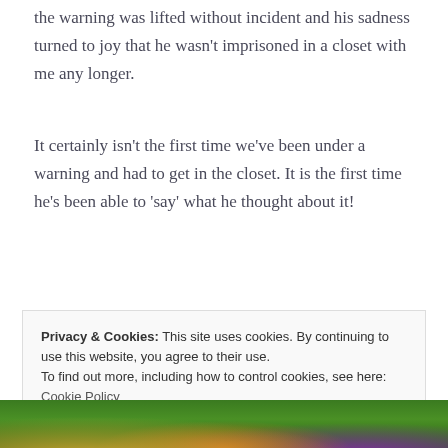the warning was lifted without incident and his sadness turned to joy that he wasn't imprisoned in a closet with me any longer.
It certainly isn't the first time we've been under a warning and had to get in the closet. It is the first time he's been able to 'say' what he thought about it!
Privacy & Cookies: This site uses cookies. By continuing to use this website, you agree to their use. To find out more, including how to control cookies, see here: Cookie Policy
[Figure (photo): Partial view of people at the bottom of the page, green background visible]